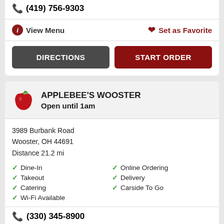(419) 756-9303
View Menu
Set as Favorite
DIRECTIONS
START ORDER
APPLEBEE'S WOOSTER
Open until 1am
3989 Burbank Road
Wooster, OH 44691
Distance 21.2 mi
Dine-In
Online Ordering
Takeout
Delivery
Catering
Carside To Go
Wi-Fi Available
(330) 345-8900
View Menu
Set as Favorite